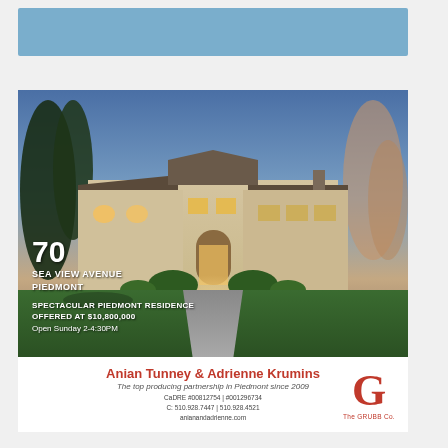[Figure (other): Light blue rectangular banner at top of page]
[Figure (photo): Luxury Mediterranean-style home at dusk with illuminated interior, manicured lawn, tree-lined pathway leading to arched front door. Address overlay: 70 SEA VIEW AVENUE PIEDMONT. Text overlay: SPECTACULAR PIEDMONT RESIDENCE OFFERED AT $10,800,000 Open Sunday 2-4:30PM. Agent bar at bottom: Anian Tunney & Adrienne Krumins, The top producing partnership in Piedmont since 2009, CaDRE #00812754 | #001296734, C: 510.928.7447 | 510.928.4521, anianandadrienne.com, The GRUBB Co. logo]